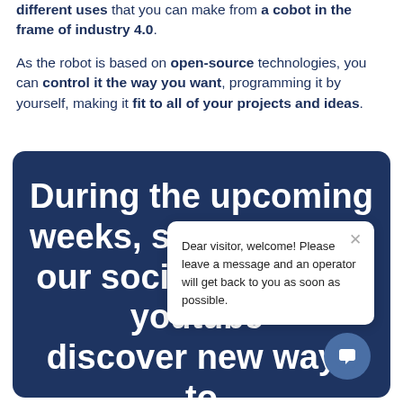different uses that you can make from a cobot in the frame of industry 4.0.
As the robot is based on open-source technologies, you can control it the way you want, programming it by yourself, making it fit to all of your projects and ideas.
[Figure (infographic): Dark navy blue rounded rectangle banner with large white bold text reading: 'During the upcoming weeks, sta[y tuned on] our social [networks,] youtube[,] discover new ways to control Ned.' Overlaid with a chat popup dialog and a chat icon button.]